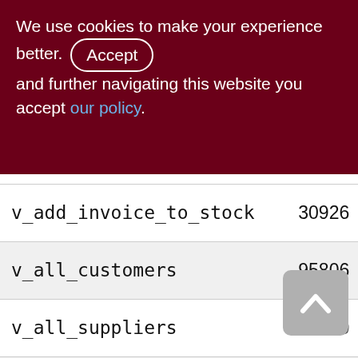We use cookies to make your experience better. By accepting and further navigating this website you accept our policy.
| Name | Col2 | Col3 |
| --- | --- | --- |
| v_add_invoice_to_stock | 30926 | 183 |
| v_all_customers | 95806 | 958 |
| v_all_suppliers | 65750 | 652 |
| v_all_wares | 128130 | 1281 |
| v_cancel_adding_invoice | 2506 | 20 |